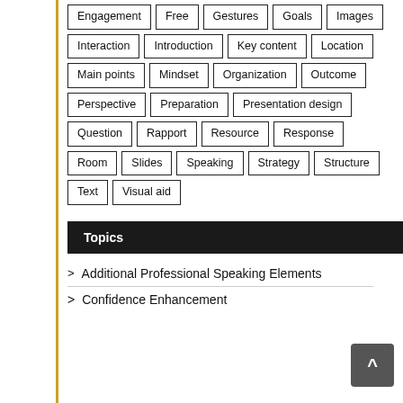Engagement
Free
Gestures
Goals
Images
Interaction
Introduction
Key content
Location
Main points
Mindset
Organization
Outcome
Perspective
Preparation
Presentation design
Question
Rapport
Resource
Response
Room
Slides
Speaking
Strategy
Structure
Text
Visual aid
Topics
> Additional Professional Speaking Elements
> Confidence Enhancement